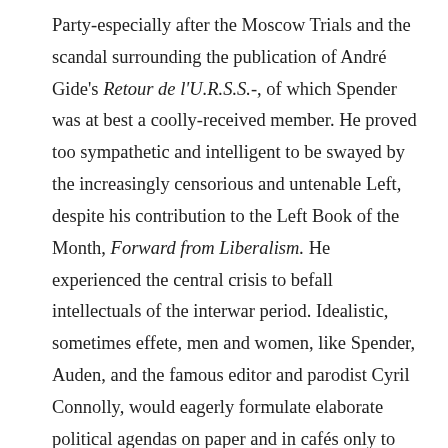Party-especially after the Moscow Trials and the scandal surrounding the publication of André Gide's Retour de l'U.R.S.S.-, of which Spender was at best a coolly-received member. He proved too sympathetic and intelligent to be swayed by the increasingly censorious and untenable Left, despite his contribution to the Left Book of the Month, Forward from Liberalism. He experienced the central crisis to befall intellectuals of the interwar period. Idealistic, sometimes effete, men and women, like Spender, Auden, and the famous editor and parodist Cyril Connolly, would eagerly formulate elaborate political agendas on paper and in cafés only to have them savagely mangled by the exigencies of political fact, by dispiriting internecine bickering in the lecture halls of London and unrestrained brutality in the hills of Spain. The ideological concerns of an entire generation of intellectual Europeans and